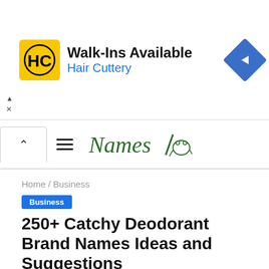[Figure (logo): Hair Cuttery advertisement banner with HC logo, text 'Walk-Ins Available' and 'Hair Cuttery', and a blue diamond arrow icon]
Names (site logo with frog illustration)
Home / Business
Business
250+ Catchy Deodorant Brand Names Ideas and Suggestions
Mehroz Sohail